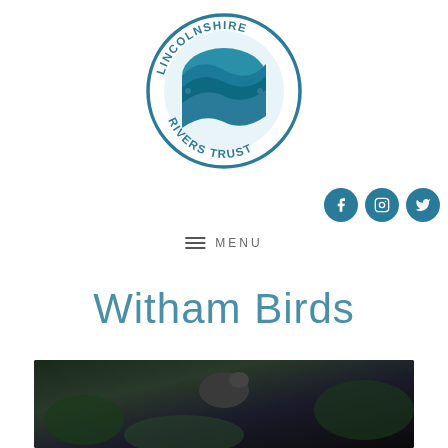[Figure (logo): Lincolnshire Rivers Trust circular logo with wave design in teal/blue tones]
[Figure (infographic): Social media icons: Facebook, Instagram, Twitter in dark teal circles]
MENU
Witham Birds
[Figure (photo): Partial photo of a bird, dark background with foliage — bottom of page crop]